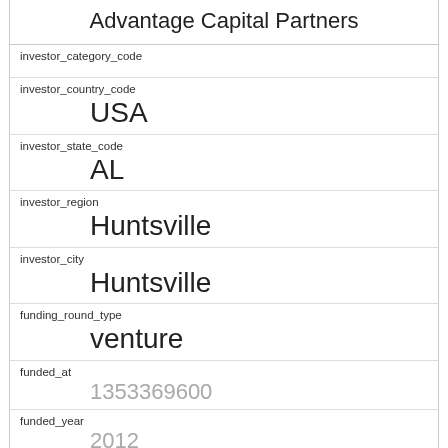Advantage Capital Partners
investor_category_code
investor_country_code
USA
investor_state_code
AL
investor_region
Huntsville
investor_city
Huntsville
funding_round_type
venture
funded_at
1353369600
funded_year
2012
raised_amount_usd
1000000
gristHelper_Display2